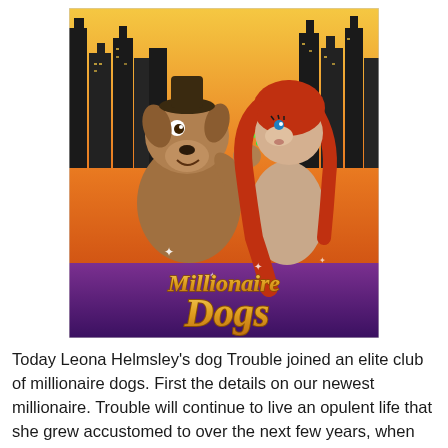[Figure (illustration): Movie/show poster for 'Millionaire Dogs' featuring two animated dog characters against a city skyline background with orange and purple hues. The title 'Millionaire Dogs' is displayed in large gold/yellow stylized lettering at the bottom of the poster.]
Today Leona Helmsley's dog Trouble joined an elite club of millionaire dogs. First the details on our newest millionaire. Trouble will continue to live an opulent life that she grew accustomed to over the next few years, when Helmsley left